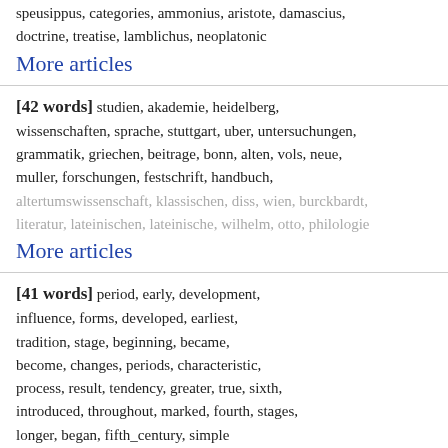speusippus, categories, ammonius, aristote, damascius, doctrine, treatise, lamblichus, neoplatonic
More articles
[42 words] studien, akademie, heidelberg, wissenschaften, sprache, stuttgart, uber, untersuchungen, grammatik, griechen, beitrage, bonn, alten, vols, neue, muller, forschungen, festschrift, handbuch, altertumswissenschaft, klassischen, diss, wien, burckbardt, literatur, lateinischen, lateinische, wilhelm, otto, philologie
More articles
[41 words] period, early, development, influence, forms, developed, earliest, tradition, stage, beginning, became, become, changes, periods, characteristic, process, result, tendency, greater, true, sixth, introduced, throughout, marked, fourth, stages, longer, began, fifth_century, simple
More articles
[38 words] lines, line, words, verse, repetition, word, verses, phrase, position, pattern, beginning, structure, formula, sentence, repeated, effect, phrases, emphasis, metrical
More articles